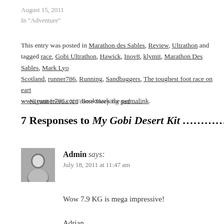August 15, 2011
In "Adventure"
This entry was posted in Marathon des Sables, Review, Ultrathon and tagged race, Gobi Ultrathon, Hawick, Inov8, klymit, Marathon Des Sables, Mark Lyon, Scotland, runner786, Running, Sandbaggers, The toughest foot race on earth, www.runner786.com. Bookmark the permalink.
← Klymit Inertia X Frame Sleeping pad …..
7 Responses to My Gobi Desert Kit ………..
Admin says:
July 18, 2011 at 11:47 am
Wow 7.9 KG is mega impressive!

Adrian
Reply